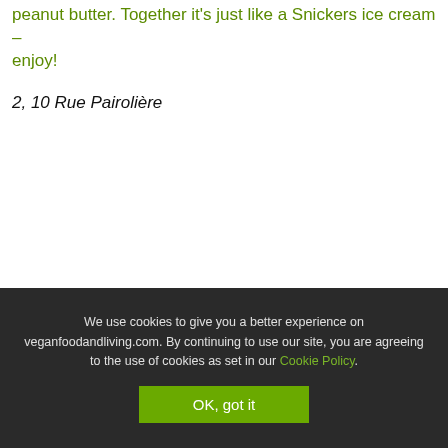peanut butter. Together it's just like a Snickers ice cream – enjoy!
2, 10 Rue Pairolière
We use cookies to give you a better experience on veganfoodandliving.com. By continuing to use our site, you are agreeing to the use of cookies as set in our Cookie Policy.
OK, got it